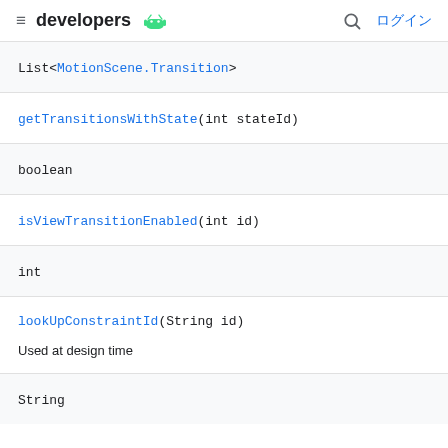≡ developers 🤖 🔍 ログイン
List<MotionScene.Transition>
getTransitionsWithState(int stateId)
boolean
isViewTransitionEnabled(int id)
int
lookUpConstraintId(String id)
Used at design time
String